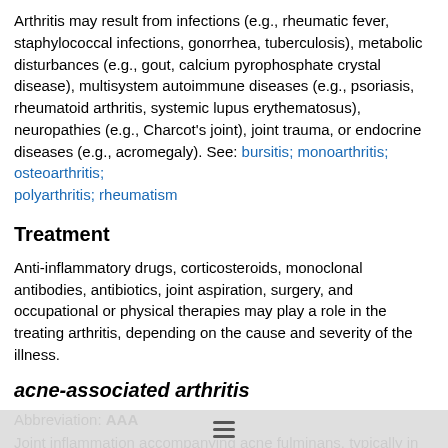Arthritis may result from infections (e.g., rheumatic fever, staphylococcal infections, gonorrhea, tuberculosis), metabolic disturbances (e.g., gout, calcium pyrophosphate crystal disease), multisystem autoimmune diseases (e.g., psoriasis, rheumatoid arthritis, systemic lupus erythematosus), neuropathies (e.g., Charcot's joint), joint trauma, or endocrine diseases (e.g., acromegaly). See: bursitis; monoarthritis; osteoarthritis; polyarthritis; rheumatism
Treatment
Anti-inflammatory drugs, corticosteroids, monoclonal antibodies, antibiotics, joint aspiration, surgery, and occupational or physical therapies may play a role in the treating arthritis, depending on the cause and severity of the illness.
acne-associated arthritis
Abbreviation: AAA
Joint inflammation accompanying acne fulminans, typically in adolescent boys. It is a rare type of spondyloarthropathy. The joint disease in AAA commonly involves the acromioclavicular and sacroiliac joints. Painful hyperostosis of the sternum and cl... are typical findings. The